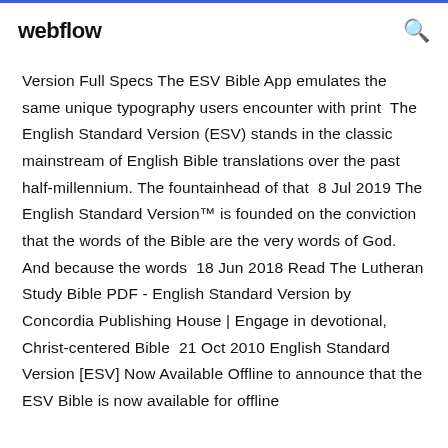webflow
Version Full Specs The ESV Bible App emulates the same unique typography users encounter with print  The English Standard Version (ESV) stands in the classic mainstream of English Bible translations over the past half-millennium. The fountainhead of that  8 Jul 2019 The English Standard Version™ is founded on the conviction that the words of the Bible are the very words of God. And because the words  18 Jun 2018 Read The Lutheran Study Bible PDF - English Standard Version by Concordia Publishing House | Engage in devotional, Christ-centered Bible  21 Oct 2010 English Standard Version [ESV] Now Available Offline to announce that the ESV Bible is now available for offline